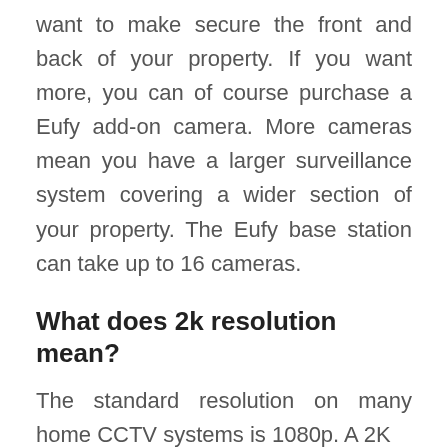want to make secure the front and back of your property. If you want more, you can of course purchase a Eufy add-on camera. More cameras mean you have a larger surveillance system covering a wider section of your property. The Eufy base station can take up to 16 cameras.
What does 2k resolution mean?
The standard resolution on many home CCTV systems is 1080p. A 2K